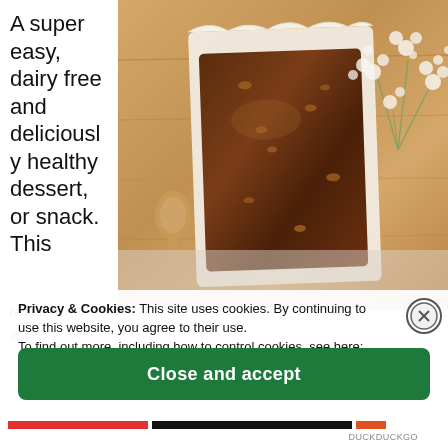A super easy, dairy free and deliciously healthy dessert, or snack. This
[Figure (photo): Photo of a chocolate bar or brownie in parchment paper on a wooden board, with a wooden spoon and white flowers (baby's breath) on the side]
Privacy & Cookies: This site uses cookies. By continuing to use this website, you agree to their use.
To find out more, including how to control cookies, see here: Cookie Policy
Close and accept